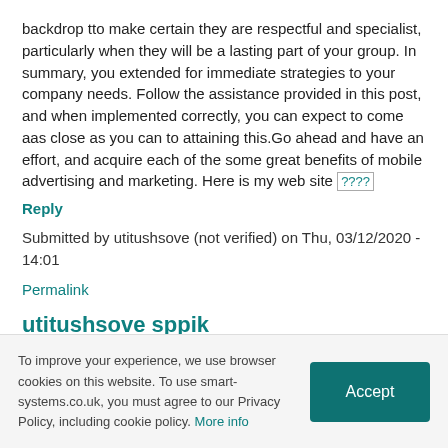backdrop tto make certain they are respectful and specialist, particularly when they will be a lasting part of your group. In summary, you extended for immediate strategies to your company needs. Follow the assistance provided in this post, and when implemented correctly, you can expect to come aas close as you can to attaining this.Go ahead and have an effort, and acquire each of the some great benefits of mobile advertising and marketing. Here is my web site [????]
Reply
Submitted by utitushsove (not verified) on Thu, 03/12/2020 - 14:01
Permalink
utitushsove sppik
To improve your experience, we use browser cookies on this website. To use smart-systems.co.uk, you must agree to our Privacy Policy, including cookie policy. More info